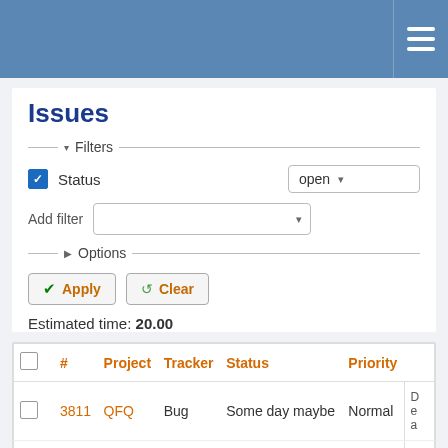Issues
Filters
Status    open
Add filter
Options
Apply   Clear
Estimated time: 20.00
|  | # | Project | Tracker | Status | Priority |  |
| --- | --- | --- | --- | --- | --- | --- |
|  | 3811 | QFQ | Bug | Some day maybe | Normal | D e a |
|  | 8106 | QFQ | Bug | Some day maybe | Normal | D F c |